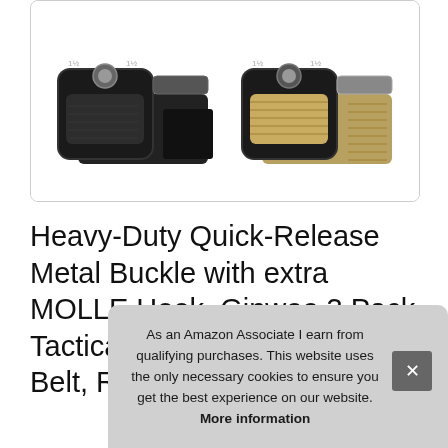[Figure (photo): Two tactical belt buckles side by side — one with black webbing/strap and one with tan/khaki webbing, both featuring heavy-duty metal quick-release buckles with MOLLE hooks. Shown in a white rounded-rectangle bordered product photo box.]
Heavy-Duty Quick-Release Metal Buckle with extra MOLLE Hook, Ginwee 3 Pack Tactical Belt,Military Style Belt, Riggers Belts for Men
#ad
As an Amazon Associate I earn from qualifying purchases. This website uses the only necessary cookies to ensure you get the best experience on our website. More information